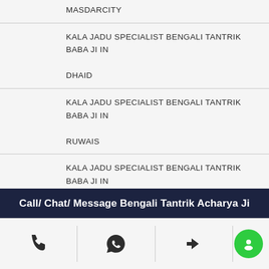MASDARCITY
KALA JADU SPECIALIST BENGALI TANTRIK BABA JI IN DHAID
KALA JADU SPECIALIST BENGALI TANTRIK BABA JI IN RUWAIS
KALA JADU SPECIALIST BENGALI TANTRIK BABA JI IN HATTA
KALA JADU SPECIALIST BENGALI TANTRIK BABA JI IN UMMALQUWAIN
KALA JADU SPECIALIST BENGALI TANTRIK BABA JI IN
Call/ Chat/ Message Bengali Tantrik Acharya Ji